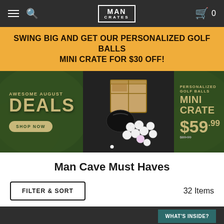MAN CRATES — Navigation bar with hamburger menu, search icon, logo, and cart (0 items)
SWING BIG AND GET OUR PERSONALIZED GOLF BALLS MINI CRATE FOR $30 OFF!
[Figure (screenshot): Hero banner showing three panels on dark green background: left panel says 'Awesome August Deals' with 'Shop Now' button; center panel shows photo of wooden Man Crates box with golf balls and accessories; right panel says 'Personalized Golf Balls Mini Crate $59.99' (was $89.99). Carousel dot indicator at bottom center.]
Man Cave Must Haves
FILTER & SORT   32 Items
WHAT'S INSIDE?